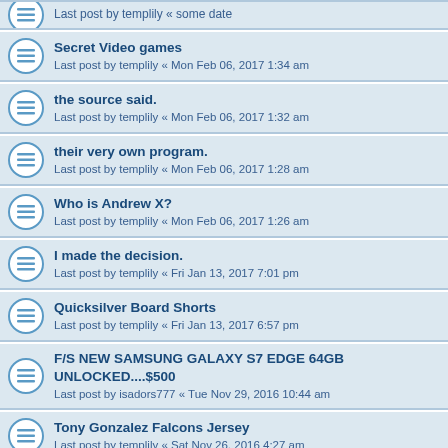Secret Video games
Last post by templily « Mon Feb 06, 2017 1:34 am
the source said.
Last post by templily « Mon Feb 06, 2017 1:32 am
their very own program.
Last post by templily « Mon Feb 06, 2017 1:28 am
Who is Andrew X?
Last post by templily « Mon Feb 06, 2017 1:26 am
I made the decision.
Last post by templily « Fri Jan 13, 2017 7:01 pm
Quicksilver Board Shorts
Last post by templily « Fri Jan 13, 2017 6:57 pm
F/S NEW SAMSUNG GALAXY S7 EDGE 64GB UNLOCKED....$500
Last post by isadors777 « Tue Nov 29, 2016 10:44 am
Tony Gonzalez Falcons Jersey
Last post by templily « Sat Nov 26, 2016 4:27 am
Andrew Whitworth Bengals Jersey
Last post by templily « Sat Nov 26, 2016 4:25 am
]Fred Biletnikoff Raiders Jersey
Last post by templily « Sat Nov 26, 2016 4:22 am